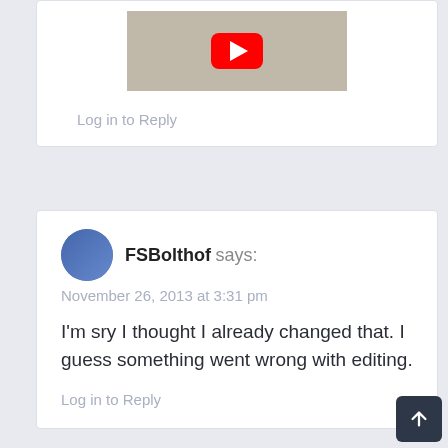[Figure (screenshot): Partial YouTube video thumbnail showing people at a desk with a red YouTube play button overlay]
Log in to Reply
FSBolthof says:
November 26, 2013 at 3:31 pm
I'm sry I thought I already changed that. I guess something went wrong with editing.
Log in to Reply